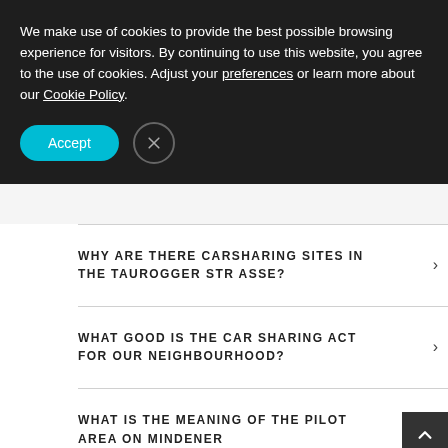We make use of cookies to provide the best possible browsing experience for visitors. By continuing to use this website, you agree to the use of cookies. Adjust your preferences or learn more about our Cookie Policy.
WHY ARE THERE CARSHARING SITES IN THE TAUROGGER STRASSE?
WHAT GOOD IS THE CAR SHARING ACT FOR OUR NEIGHBOURHOOD?
WHAT IS THE MEANING OF THE PILOT AREA ON MINDENER